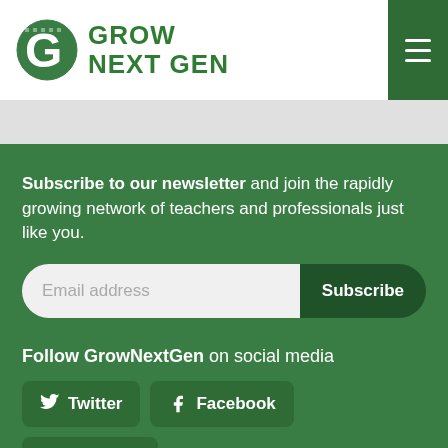[Figure (logo): Grow Next Gen logo with circular maze G icon and bold green text GROW NEXT GEN]
Subscribe to our newsletter and join the rapidly growing network of teachers and professionals just like you.
Email address
Subscribe
Follow GrowNextGen on social media
Twitter
Facebook
YouTube